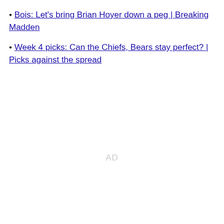• Bois: Let's bring Brian Hoyer down a peg | Breaking Madden
• Week 4 picks: Can the Chiefs, Bears stay perfect? | Picks against the spread
AD